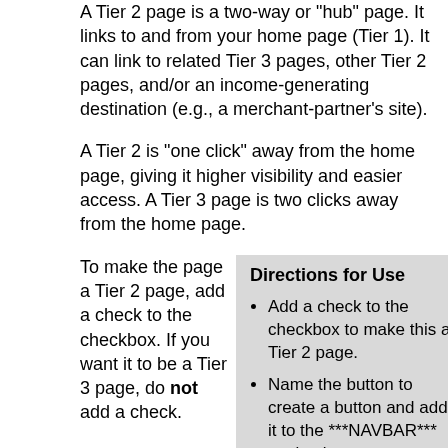A Tier 2 page is a two-way or "hub" page. It links to and from your home page (Tier 1). It can link to related Tier 3 pages, other Tier 2 pages, and/or an income-generating destination (e.g., a merchant-partner's site).
A Tier 2 is "one click" away from the home page, giving it higher visibility and easier access. A Tier 3 page is two clicks away from the home page.
To make the page a Tier 2 page, add a check to the checkbox. If you want it to be a Tier 3 page, do not add a check.
Directions for Use
Add a check to the checkbox to make this a Tier 2 page.
Name the button to create a button and add it to the ***NAVBAR*** navigation or create a menu item and add it to the ***NAVBAR orientation=horizontal*** navigation.